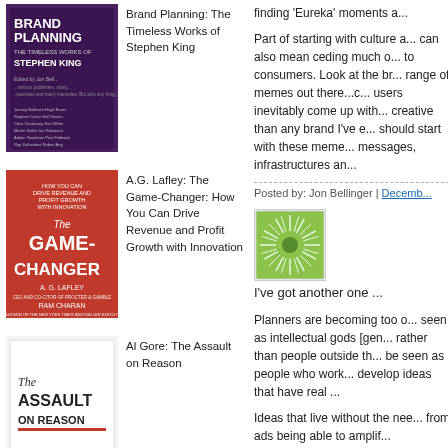[Figure (photo): Book cover: Brand Planning: The Timeless Works of Stephen King]
Brand Planning: The Timeless Works of Stephen King
[Figure (photo): Book cover: A.G. Lafley The Game-Changer: How You Can Drive Revenue and Profit Growth with Innovation]
A.G. Lafley: The Game-Changer: How You Can Drive Revenue and Profit Growth with Innovation
[Figure (photo): Book cover: Al Gore: The Assault on Reason]
Al Gore: The Assault on Reason
finding 'Eureka' moments a...
Part of starting with culture a... can also mean ceding much o... to consumers. Look at the br... range of memes out there...c... users inevitably come up with... creative than any brand I've e... should start with these meme... messages, infrastructures an...
Posted by: Jon Bellinger | Decemb...
[Figure (logo): Green sunburst icon with circle in center]
I've got another one ...
Planners are becoming too o... seen as intellectual gods [gen... rather than people outside th... be seen as people who work... develop ideas that have real ...
Ideas that live without the nee... from ads being able to amplif...
Until we remember we need t...